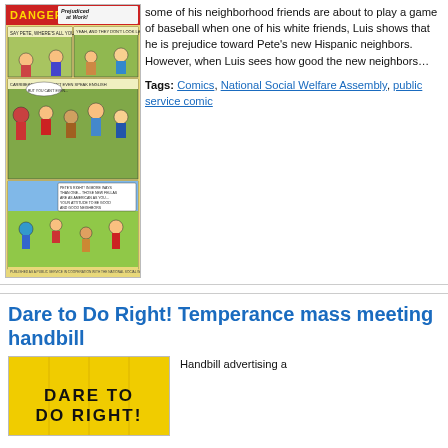[Figure (illustration): Cover of a comic book titled 'Prejudiced at Work!' showing scenes of boys playing baseball and interacting, published as a public service in cooperation with the National Social Welfare Assembly.]
some of his neighborhood friends are about to play a game of baseball when one of his white friends, Luis shows that he is prejudice toward Pete's new Hispanic neighbors. However, when Luis sees how good the new neighbors…
Tags: Comics, National Social Welfare Assembly, public service comic
Dare to Do Right! Temperance mass meeting handbill
[Figure (photo): Yellow handbill advertising a temperance mass meeting, with bold black text reading 'DARE TO DO RIGHT!']
Handbill advertising a